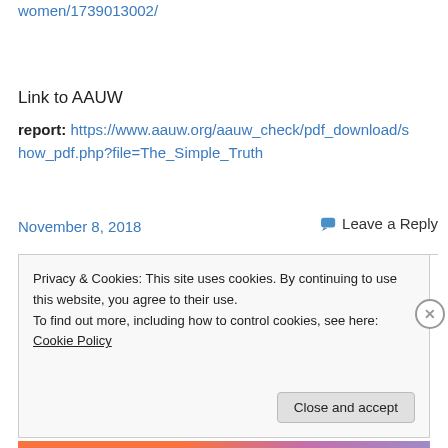women/1739013002/
Link to AAUW
report: https://www.aauw.org/aauw_check/pdf_download/show_pdf.php?file=The_Simple_Truth
November 8, 2018
Leave a Reply
Privacy & Cookies: This site uses cookies. By continuing to use this website, you agree to their use.
To find out more, including how to control cookies, see here: Cookie Policy